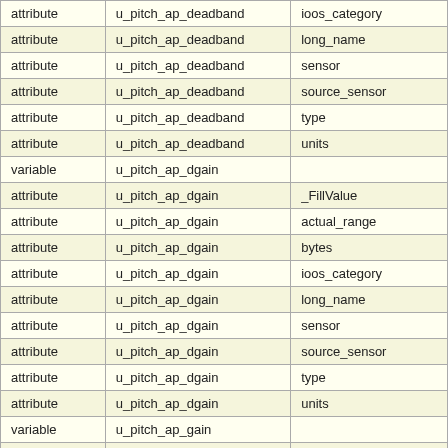| attribute | u_pitch_ap_deadband | ioos_category |
| attribute | u_pitch_ap_deadband | long_name |
| attribute | u_pitch_ap_deadband | sensor |
| attribute | u_pitch_ap_deadband | source_sensor |
| attribute | u_pitch_ap_deadband | type |
| attribute | u_pitch_ap_deadband | units |
| variable | u_pitch_ap_dgain |  |
| attribute | u_pitch_ap_dgain | _FillValue |
| attribute | u_pitch_ap_dgain | actual_range |
| attribute | u_pitch_ap_dgain | bytes |
| attribute | u_pitch_ap_dgain | ioos_category |
| attribute | u_pitch_ap_dgain | long_name |
| attribute | u_pitch_ap_dgain | sensor |
| attribute | u_pitch_ap_dgain | source_sensor |
| attribute | u_pitch_ap_dgain | type |
| attribute | u_pitch_ap_dgain | units |
| variable | u_pitch_ap_gain |  |
| attribute | u_pitch_ap_gain | _FillValue |
| attribute | u_pitch_ap_gain | actual_range |
| attribute | u_pitch_ap_gain | bytes |